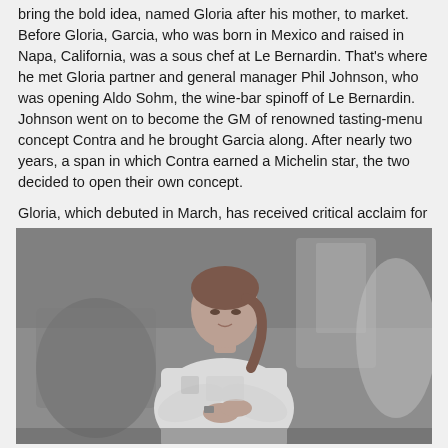bring the bold idea, named Gloria after his mother, to market. Before Gloria, Garcia, who was born in Mexico and raised in Napa, California, was a sous chef at Le Bernardin. That's where he met Gloria partner and general manager Phil Johnson, who was opening Aldo Sohm, the wine-bar spinoff of Le Bernardin. Johnson went on to become the GM of renowned tasting-menu concept Contra and he brought Garcia along. After nearly two years, a span in which Contra earned a Michelin star, the two decided to open their own concept.
Gloria, which debuted in March, has received critical acclaim for its cool vibe and essential flavors.
[Figure (photo): Black and white photograph of a female chef in a white chef's coat, arms crossed, standing in a professional kitchen with blurred equipment and activity in the background.]